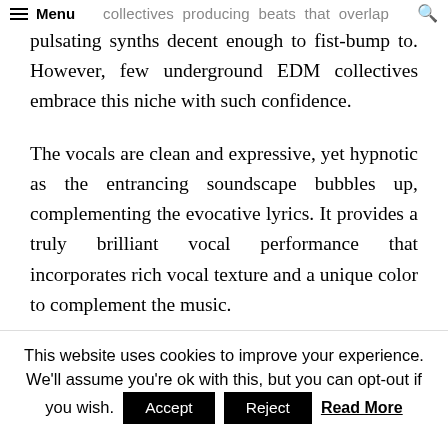Menu collectives producing beats that overlap
pulsating synths decent enough to fist-bump to. However, few underground EDM collectives embrace this niche with such confidence.
The vocals are clean and expressive, yet hypnotic as the entrancing soundscape bubbles up, complementing the evocative lyrics. It provides a truly brilliant vocal performance that incorporates rich vocal texture and a unique color to complement the music.
Indeed the chemistry between the two blends irresistibly smoothly. Unlike many
This website uses cookies to improve your experience. We'll assume you're ok with this, but you can opt-out if you wish. Accept Reject Read More